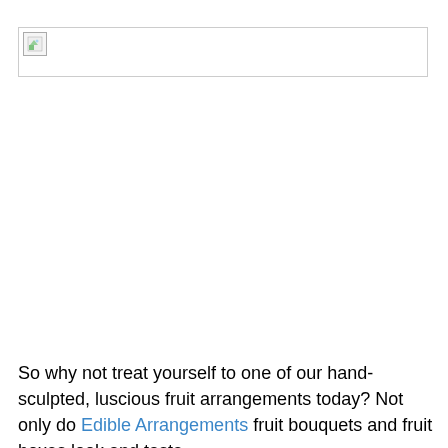[Figure (photo): Broken/missing image placeholder with a small icon in the top-left corner, displayed as a wide horizontal box with a border.]
So why not treat yourself to one of our hand-sculpted, luscious fruit arrangements today? Not only do Edible Arrangements fruit bouquets and fruit boxes look and taste